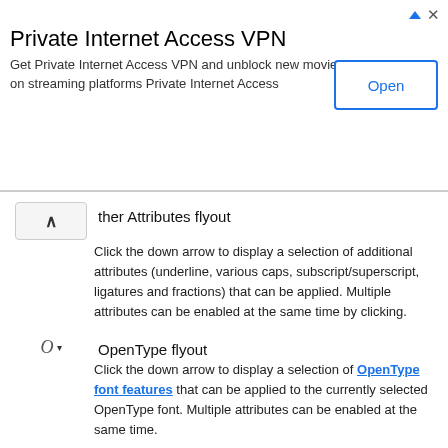[Figure (screenshot): Advertisement banner for Private Internet Access VPN with an Open button]
ther Attributes flyout
Click the down arrow to display a selection of additional attributes (underline, various caps, subscript/superscript, ligatures and fractions) that can be applied. Multiple attributes can be enabled at the same time by clicking.
OpenType flyout
Click the down arrow to display a selection of OpenType font features that can be applied to the currently selected OpenType font. Multiple attributes can be enabled at the same time.
Alignment buttons
The “down” button indicates the paragraph alignment of text at the cursor position (Left, Centerd, Right, or Justified). To change the alignment of selected text, click a different button.
Bulleted List